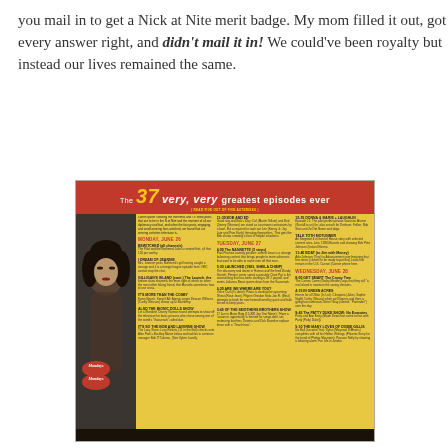you mail in to get a Nick at Nite merit badge. My mom filled it out, got every answer right, and didn't mail it in! We could've been royalty but instead our lives remained the same.
[Figure (photo): A vintage-style Nick at Nite magazine page showing 'The 37 very, very greatest episodes ever' with yellow background, columns of text listing episodes, a woman's face on the left side, and eyes visible at the bottom. Red header and footer with Nick at Nite Mondays/Tuesdays branding.]